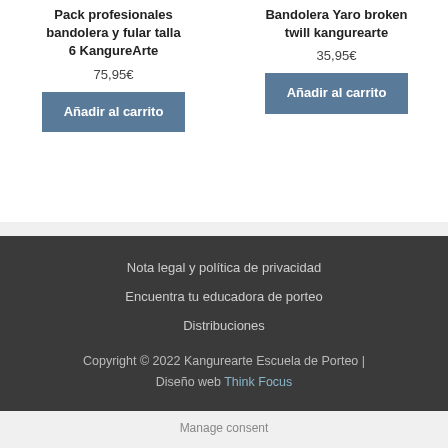Pack profesionales bandolera y fular talla 6 KangureArte
75,95€
Añadir al carrito
Bandolera Yaro broken twill kangurearte
35,95€
Añadir al carrito
Nota legal y política de privacidad
Encuentra tu educadora de porteo
Distribuciones
Copyright © 2022 Kangurearte Escuela de Porteo | Diseño web Think Focus
Manage consent